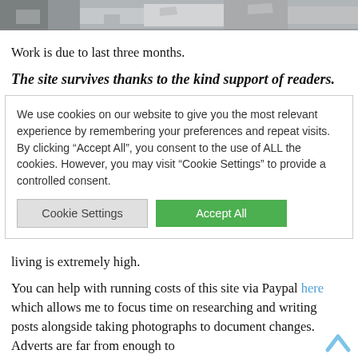[Figure (photo): Aerial/overhead photograph of an outdoor area, partially visible at the top of the page, cropped.]
Work is due to last three months.
The site survives thanks to the kind support of readers.
We use cookies on our website to give you the most relevant experience by remembering your preferences and repeat visits. By clicking “Accept All”, you consent to the use of ALL the cookies. However, you may visit “Cookie Settings” to provide a controlled consent.
living is extremely high.
You can help with running costs of this site via Paypal here which allows me to focus time on researching and writing posts alongside taking photographs to document changes. Adverts are far from enough to